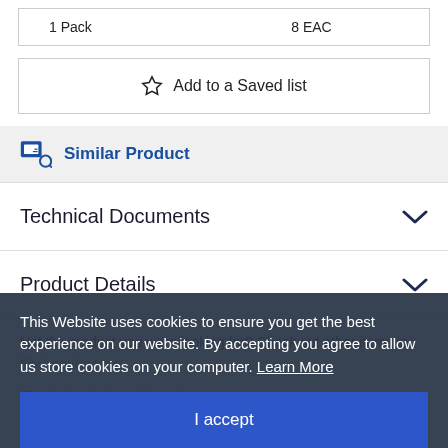| Pack | Unit |
| --- | --- |
| 1 Pack | 8 EAC |
Add to a Saved list
Similar Product
Technical Documents
Product Details
Not the product you were looking for? Check out other items in Enchanting tape.
Technical Specifications
This Website uses cookies to ensure you get the best experience on our website. By accepting you agree to allow us store cookies on your computer. Learn More
I accept